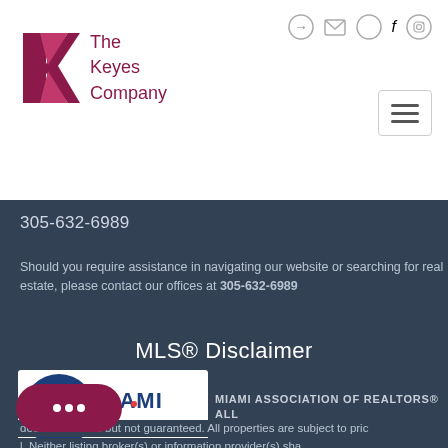[Figure (logo): The Keyes Company logo with red K geometric shape and company name]
305-632-6989
Should you require assistance in navigating our website or searching for real estate, please contact our offices at 305-632-6989
MLS® Disclaimer
[Figure (logo): Miami Realtors association logo with green and blue circular emblem]
MIAMI ASSOCIATION OF REALTORS® ALL
deemed reliable but not guaranteed. All properties are subject to prior sale, change or withdrawal.
Neither listing broker(s) or information provider(s) shall be responsible for any typographical errors, misinformation, misprints and shall be held totally harmless. Listing(s) information is provided for consumers personal, non-commercial use and may not be used for any purpose other than to identify prospective properties consumers may be interested in purchasing.